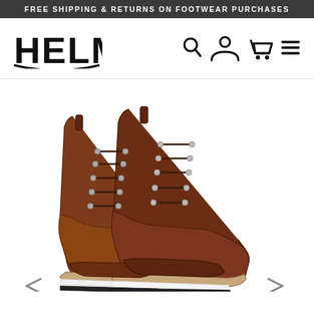FREE SHIPPING & RETURNS ON FOOTWEAR PURCHASES
[Figure (logo): HELM boots brand logo in bold stylized font]
[Figure (illustration): Navigation icons: search magnifying glass, user/account icon, shopping cart icon, hamburger menu icon]
[Figure (photo): A pair of brown leather lace-up cap-toe boots with Goodyear welt construction, shown from the side on a white background. The boots have dark brown laces, metal eyelets, and a stacked leather and rubber sole with a white midsole strip.]